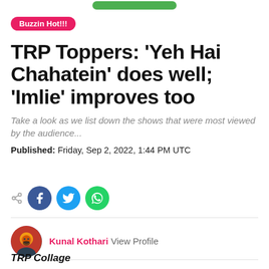Buzzin Hot!!!
TRP Toppers: 'Yeh Hai Chahatein' does well; 'Imlie' improves too
Take a look as we list down the shows that were most viewed by the audience...
Published: Friday, Sep 2, 2022, 1:44 PM UTC
[Figure (infographic): Social share icons: share symbol, Facebook, Twitter, WhatsApp]
[Figure (photo): Author avatar photo of Kunal Kothari]
Kunal Kothari View Profile
TRP Collage